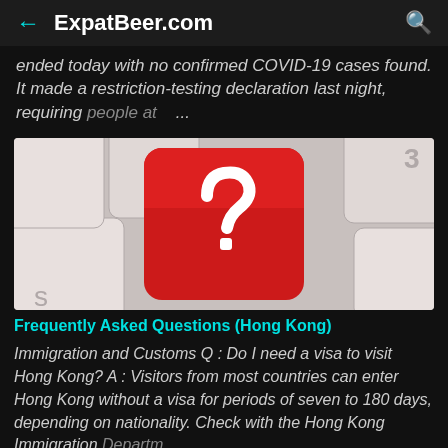← ExpatBeer.com 🔍
ended today with no confirmed COVID-19 cases found. It made a restriction-testing declaration last night, requiring people at ...
[Figure (photo): Close-up photo of keyboard keys with a red key featuring a white question mark symbol in the center, surrounded by light gray/white keys]
Frequently Asked Questions (Hong Kong)
Immigration and Customs Q : Do I need a visa to visit Hong Kong? A : Visitors from most countries can enter Hong Kong without a visa for periods of seven to 180 days, depending on nationality. Check with the Hong Kong Immigration Departm ...